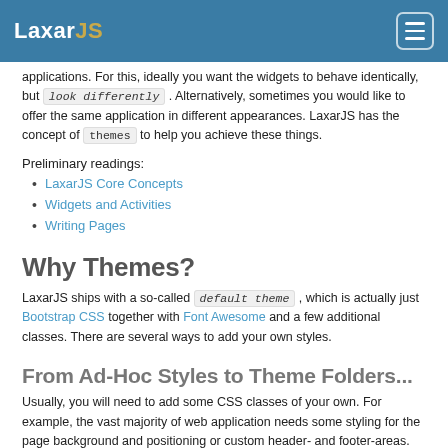LaxarJS
applications. For this, ideally you want the widgets to behave identically, but look differently. Alternatively, sometimes you would like to offer the same application in different appearances. LaxarJS has the concept of themes to help you achieve these things.
Preliminary readings:
LaxarJS Core Concepts
Widgets and Activities
Writing Pages
Why Themes?
LaxarJS ships with a so-called default theme , which is actually just Bootstrap CSS together with Font Awesome and a few additional classes. There are several ways to add your own styles.
From Ad-Hoc Styles to Theme Folders...
Usually, you will need to add some CSS classes of your own. For example, the vast majority of web application needs some styling for the page background and positioning or custom header- and footer-areas. To include additional styles, you can add them to the CSS files A...